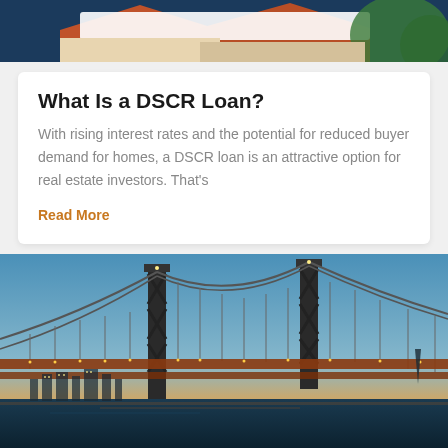[Figure (photo): Partial view of a residential home with a dark navy banner/overlay, cropped at the top of the page]
What Is a DSCR Loan?
With rising interest rates and the potential for reduced buyer demand for homes, a DSCR loan is an attractive option for real estate investors. That's
Read More
[Figure (photo): Nighttime/sunset photograph of the Bay Bridge (San Francisco-Oakland Bay Bridge) with the San Francisco city skyline illuminated in the background, warm orange and blue sky tones]